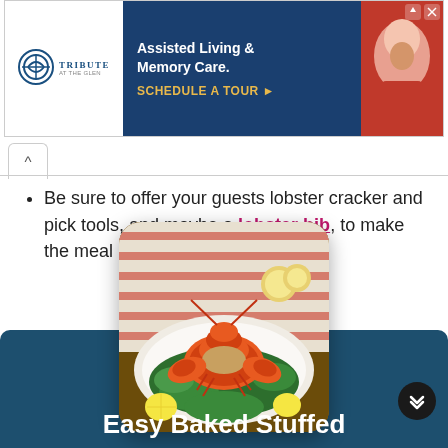[Figure (screenshot): Advertisement banner for Tribute at the Glen - Assisted Living & Memory Care with 'Schedule a Tour' call to action. Features logo on left, dark navy text area in center, and photo of elderly person on right.]
Be sure to offer your guests lobster cracker and pick tools, and maybe a lobster bib, to make the meal more enjoyable.
[Figure (photo): Photo of a cooked stuffed lobster on a white plate surrounded by parsley and lemon slices, with seafood tools and a striped cloth in the background.]
Easy Baked Stuffed